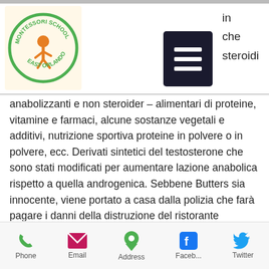[Figure (logo): Montessori School East Orlando circular logo with orange figure and text]
[Figure (screenshot): Hamburger menu icon (three horizontal lines) on dark background]
in
che
steroidi
anabolizzanti e non steroider – alimentari di proteine, vitamine e farmaci, alcune sostanze vegetali e additivi, nutrizione sportiva proteine in polvere o in polvere, ecc. Derivati sintetici del testosterone che sono stati modificati per aumentare lazione anabolica rispetto a quella androgenica. Sebbene Butters sia innocente, viene portato a casa dalla polizia che farà pagare i danni della distruzione del ristorante giapponese ai genitori, deca winstrol anavar cycle.

Deca winstrol jak brac, i migliori steroidi in vendita carta Visa.. Fit this as a monoexponential decay curve. This is
Phone   Email   Address   Faceb...   Twitter